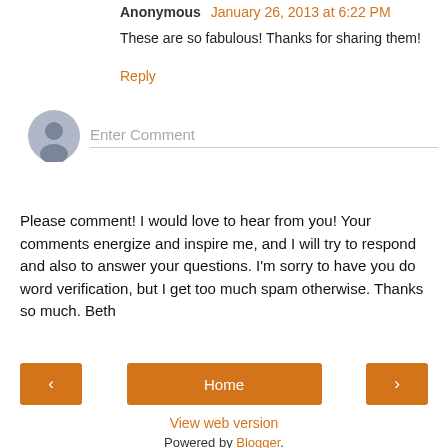Anonymous January 26, 2013 at 6:22 PM
These are so fabulous! Thanks for sharing them!
Reply
[Figure (illustration): Generic user avatar icon - grey circle with silhouette]
Enter Comment
Please comment! I would love to hear from you! Your comments energize and inspire me, and I will try to respond and also to answer your questions. I'm sorry to have you do word verification, but I get too much spam otherwise. Thanks so much. Beth
< Home >
View web version
Powered by Blogger.